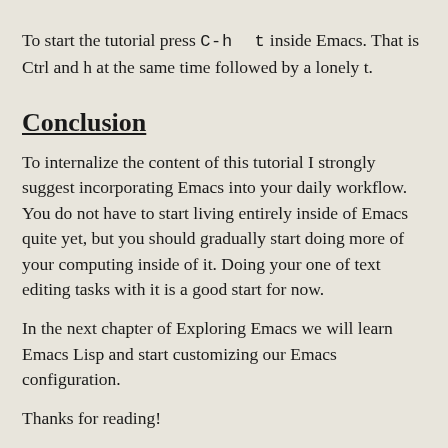To start the tutorial press C-h t inside Emacs. That is Ctrl and h at the same time followed by a lonely t.
Conclusion
To internalize the content of this tutorial I strongly suggest incorporating Emacs into your daily workflow. You do not have to start living entirely inside of Emacs quite yet, but you should gradually start doing more of your computing inside of it. Doing your one of text editing tasks with it is a good start for now.
In the next chapter of Exploring Emacs we will learn Emacs Lisp and start customizing our Emacs configuration.
Thanks for reading!
Take care